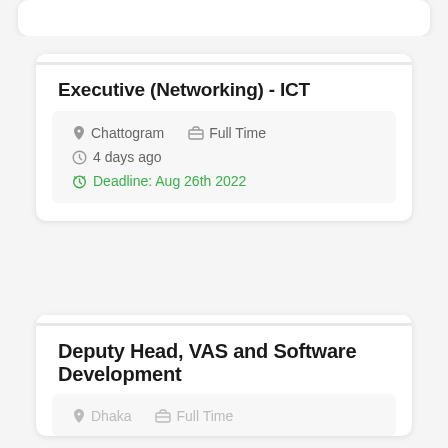Executive (Networking) - ICT
Chattogram   Full Time   4 days ago   Deadline: Aug 26th 2022
Deputy Head, VAS and Software Development
Dhaka   Full Time